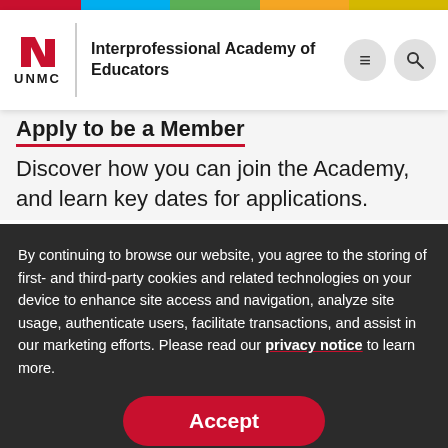[Figure (screenshot): UNMC logo with stylized N icon and UNMC text, followed by vertical divider and organization name]
Interprofessional Academy of Educators
Apply to be a Member
Discover how you can join the Academy, and learn key dates for applications.
By continuing to browse our website, you agree to the storing of first- and third-party cookies and related technologies on your device to enhance site access and navigation, analyze site usage, authenticate users, facilitate transactions, and assist in our marketing efforts. Please read our privacy notice to learn more.